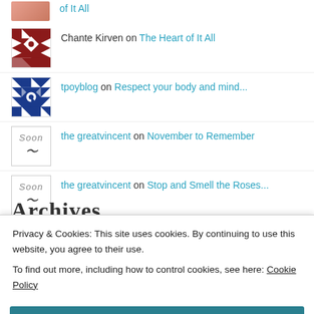of It All
[Figure (illustration): Quilt-pattern geometric avatar in dark red/maroon and white]
Chante Kirven on The Heart of It All
[Figure (illustration): Quilt-pattern geometric avatar in blue and white]
tpoyblog on Respect your body and mind...
[Figure (illustration): Coming soon placeholder avatar with text 'Soon']
the greatvincent on November to Remember
[Figure (illustration): Coming soon placeholder avatar with text 'Soon']
the greatvincent on Stop and Smell the Roses...
Archives
Privacy & Cookies: This site uses cookies. By continuing to use this website, you agree to their use.
To find out more, including how to control cookies, see here: Cookie Policy
Close and accept